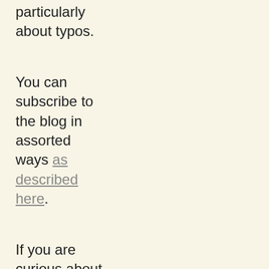particularly about typos.
You can subscribe to the blog in assorted ways as described here.
If you are curious about who I am read this.